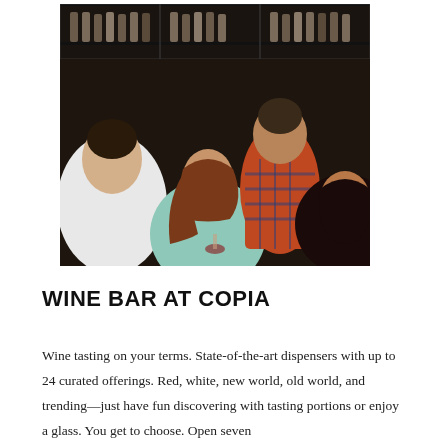[Figure (photo): Four people socializing at a wine bar. Two women are seated, one in a mint green dress with long auburn hair, the other in a dark top with dark hair. Two men are standing behind them, one in a white shirt and one in an orange plaid shirt. Wine dispensers and bottles are visible in the background on shelving.]
WINE BAR AT COPIA
Wine tasting on your terms. State-of-the-art dispensers with up to 24 curated offerings. Red, white, new world, old world, and trending—just have fun discovering with tasting portions or enjoy a glass. You get to choose. Open seven